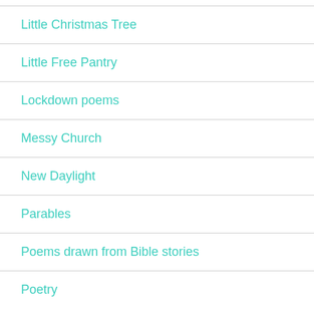Little Christmas Tree
Little Free Pantry
Lockdown poems
Messy Church
New Daylight
Parables
Poems drawn from Bible stories
Poetry